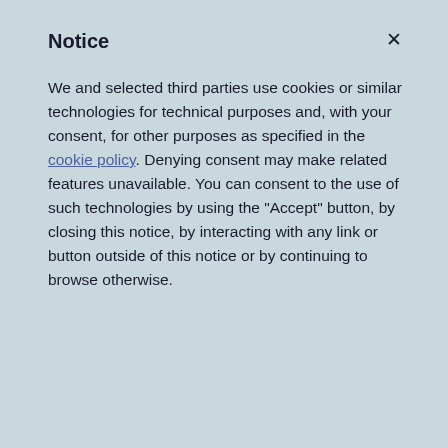Notice
We and selected third parties use cookies or similar technologies for technical purposes and, with your consent, for other purposes as specified in the cookie policy. Denying consent may make related features unavailable. You can consent to the use of such technologies by using the "Accept" button, by closing this notice, by interacting with any link or button outside of this notice or by continuing to browse otherwise.
Accept
Learn more and customize
migrate south in the Autumn as I'm so used to now listening and watching them outside our